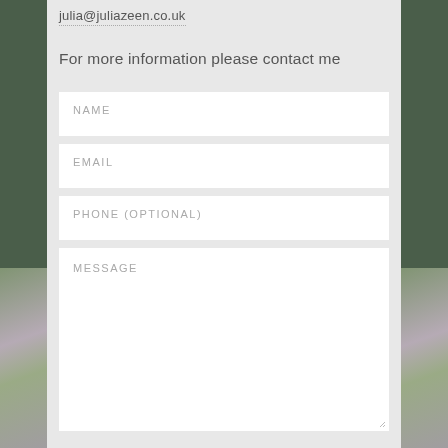julia@juliazeen.co.uk
For more information please contact me
[Figure (screenshot): Contact form with fields: NAME, EMAIL, PHONE (OPTIONAL), MESSAGE]
[Figure (photo): Floral decorative image on left and right side panels with dark green background]